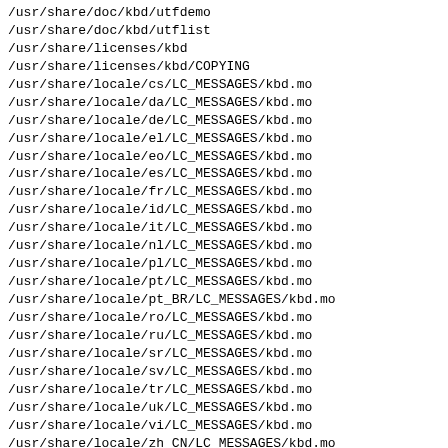/usr/share/doc/kbd/utfdemo
/usr/share/doc/kbd/utflist
/usr/share/licenses/kbd
/usr/share/licenses/kbd/COPYING
/usr/share/locale/cs/LC_MESSAGES/kbd.mo
/usr/share/locale/da/LC_MESSAGES/kbd.mo
/usr/share/locale/de/LC_MESSAGES/kbd.mo
/usr/share/locale/el/LC_MESSAGES/kbd.mo
/usr/share/locale/eo/LC_MESSAGES/kbd.mo
/usr/share/locale/es/LC_MESSAGES/kbd.mo
/usr/share/locale/fr/LC_MESSAGES/kbd.mo
/usr/share/locale/id/LC_MESSAGES/kbd.mo
/usr/share/locale/it/LC_MESSAGES/kbd.mo
/usr/share/locale/nl/LC_MESSAGES/kbd.mo
/usr/share/locale/pl/LC_MESSAGES/kbd.mo
/usr/share/locale/pt/LC_MESSAGES/kbd.mo
/usr/share/locale/pt_BR/LC_MESSAGES/kbd.mo
/usr/share/locale/ro/LC_MESSAGES/kbd.mo
/usr/share/locale/ru/LC_MESSAGES/kbd.mo
/usr/share/locale/sr/LC_MESSAGES/kbd.mo
/usr/share/locale/sv/LC_MESSAGES/kbd.mo
/usr/share/locale/tr/LC_MESSAGES/kbd.mo
/usr/share/locale/uk/LC_MESSAGES/kbd.mo
/usr/share/locale/vi/LC_MESSAGES/kbd.mo
/usr/share/locale/zh_CN/LC_MESSAGES/kbd.mo
/usr/share/man/man1/chvt.1.gz
/usr/share/man/man1/deallocvt.1.gz
/usr/share/man/man1/dumpkeys.1.gz
/usr/share/man/man1/fgconsole.1.gz
/usr/share/man/man1/kbd_mode.1.gz